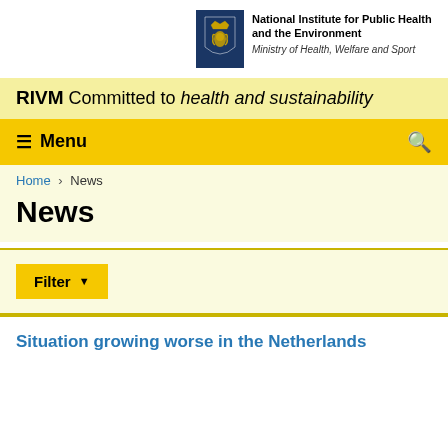[Figure (logo): RIVM logo: dark blue shield/coat of arms with National Institute for Public Health and the Environment, Ministry of Health, Welfare and Sport text]
RIVM Committed to health and sustainability
≡ Menu
Home › News
News
Filter ▼
Situation growing worse in the Netherlands